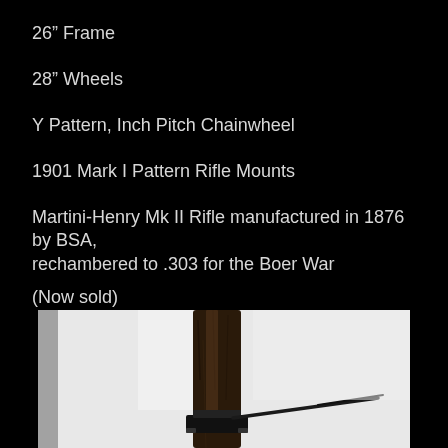26” Frame
28” Wheels
Y Pattern, Inch Pitch Chainwheel
1901 Mark I Pattern Rifle Mounts
Martini-Henry Mk II Rifle manufactured in 1876 by BSA, rechambered to .303 for the Boer War
(Now sold)
[Figure (photo): Close-up photograph of a dark wooden bicycle frame or tree-like structure with a rifle or long object attached, shown against a white background.]